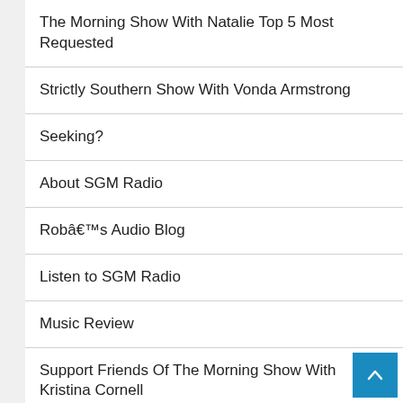The Morning Show With Natalie Top 5 Most Requested
Strictly Southern Show With Vonda Armstrong
Seeking?
About SGM Radio
Robâ€™s Audio Blog
Listen to SGM Radio
Music Review
Support Friends Of The Morning Show With Kristina Cornell